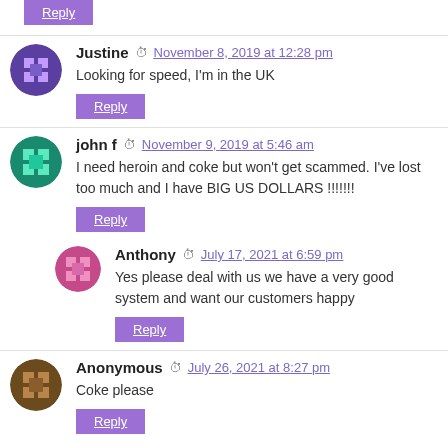Reply (button at top)
Justine — November 8, 2019 at 12:28 pm
Looking for speed, I'm in the UK
Reply
john f — November 9, 2019 at 5:46 am
I need heroin and coke but won't get scammed. I've lost too much and I have BIG US DOLLARS !!!!!!!
Reply
Anthony — July 17, 2021 at 6:59 pm
Yes please deal with us we have a very good system and want our customers happy
Reply
Anonymous — July 26, 2021 at 8:27 pm
Coke please
Reply